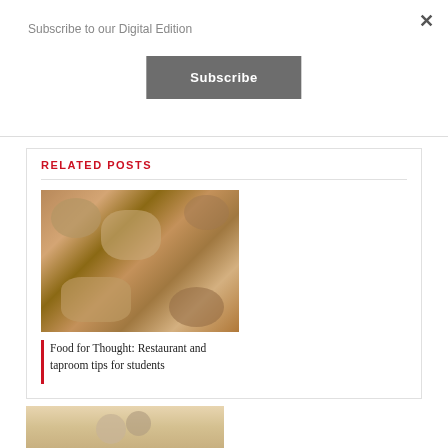Subscribe to our Digital Edition
×
Subscribe
RELATED POSTS
[Figure (photo): Overhead shot of a table covered with various food dishes, plates of food, drinks and snacks]
Food for Thought: Restaurant and taproom tips for students
[Figure (photo): Partial view of another food-related image, cropped at bottom of page]